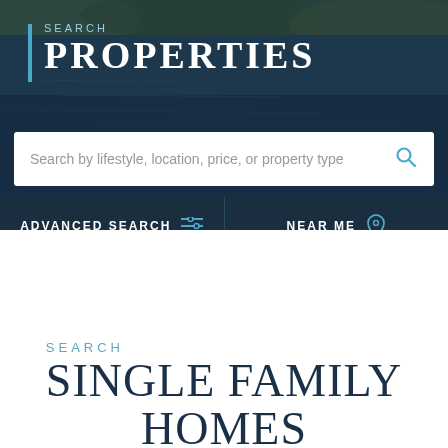[Figure (screenshot): Hero banner with water/nature background photo and 'SEARCH PROPERTIES' heading with blue vertical bar, search input field, Advanced Search, Near Me, and Sold Search buttons]
SEARCH
SINGLE FAMILY
HOMES